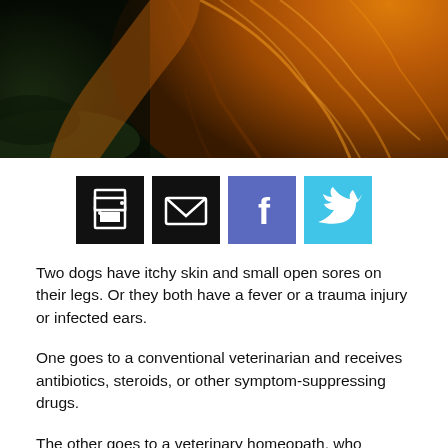[Figure (photo): Close-up photo of a golden/orange-furred dog against a dark background, showing the dog's fur and partial head.]
[Figure (infographic): Row of four social sharing buttons: print (black), email (black), Facebook (purple-blue), and Twitter (light blue).]
Two dogs have itchy skin and small open sores on their legs. Or they both have a fever or a trauma injury or infected ears.
One goes to a conventional veterinarian and receives antibiotics, steroids, or other symptom-suppressing drugs.
The other goes to a veterinary homeopath, who studies the dog's symptoms and asks all kinds of questions about his behavior and actions while looking things up in a book or computer. The homeopath selects a remedy, gives the dog a